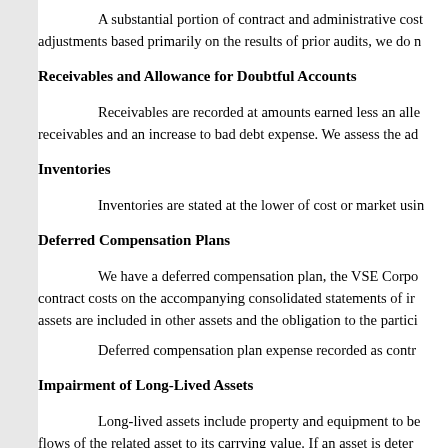A substantial portion of contract and administrative costs adjustments based primarily on the results of prior audits, we do n
Receivables and Allowance for Doubtful Accounts
Receivables are recorded at amounts earned less an alle receivables and an increase to bad debt expense. We assess the ad
Inventories
Inventories are stated at the lower of cost or market usin
Deferred Compensation Plans
We have a deferred compensation plan, the VSE Corpo contract costs on the accompanying consolidated statements of ir assets are included in other assets and the obligation to the partici
Deferred compensation plan expense recorded as contr
Impairment of Long-Lived Assets
Long-lived assets include property and equipment to be flows of the related asset to its carrying value. If an asset is deter Akimeka (see Note 6). Also during 2012, an impairment charge o
Income Taxes
Income taxes are accounted for under the asset and liab